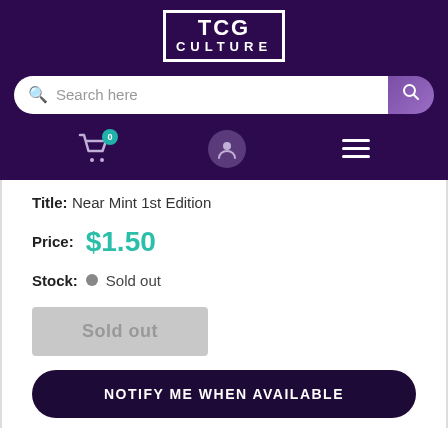[Figure (logo): TCG CULTURE logo in white text inside a white border box on dark purple background]
[Figure (screenshot): Search bar with magnifying glass icon and purple search button on the right]
[Figure (screenshot): Navigation icons row: shopping cart with badge showing 0, user profile icon, hamburger menu]
Title: Near Mint 1st Edition
Price: $1.50
Stock: Sold out
Sold out
NOTIFY ME WHEN AVAILABLE